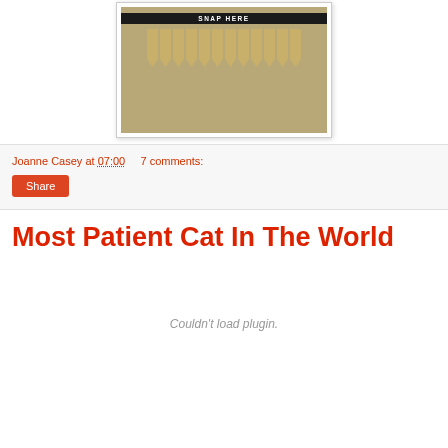[Figure (photo): Photo of wooden stake flags hanging on a display board with a black banner reading 'SNAP HERE' at the top. Multiple pointed wooden tags/stakes hang in rows against a white background.]
Joanne Casey at 07:00    7 comments:
Share
Most Patient Cat In The World
Couldn't load plugin.